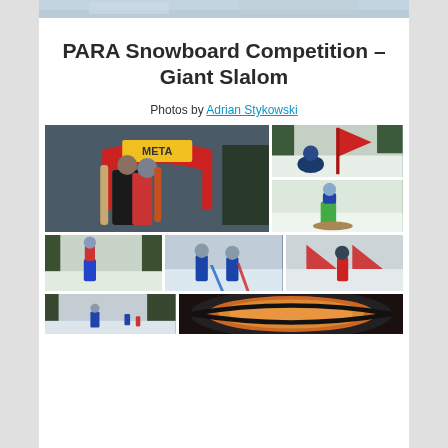[Figure (photo): Top partial photo strip showing snowy background]
PARA Snowboard Competition – Giant Slalom
Photos by Adrian Stykowski
[Figure (photo): Two snowboarders posing under META arch]
[Figure (photo): Snowboarder sitting near red flag gate on slope]
[Figure (photo): Young snowboarder in green pants on slope]
[Figure (photo): Snowboarder on slope with blue vest]
[Figure (photo): Two coaches in blue jackets near slalom gates]
[Figure (photo): Snowboarder in red suit navigating red/blue gate]
[Figure (photo): Wide shot of snowboard slalom course]
[Figure (photo): Close-up of ski goggles with orange lens reflection]